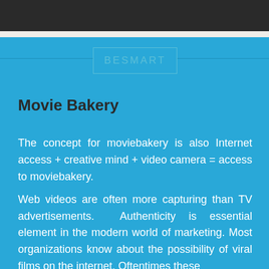BESMART
Movie Bakery
The concept for moviebakery is also Internet access + creative mind + video camera = access to moviebakery.
Web videos are often more capturing than TV advertisements. Authenticity is essential element in the modern world of marketing. Most organizations know about the possibility of viral films on the internet. Oftentimes these